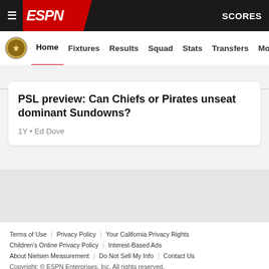ESPN - SCORES
Home | Fixtures | Results | Squad | Stats | Transfers | More
PSL preview: Can Chiefs or Pirates unseat dominant Sundowns?
1Y • Ed Dove
Terms of Use | Privacy Policy | Your California Privacy Rights | Children's Online Privacy Policy | Interest-Based Ads | About Nielsen Measurement | Do Not Sell My Info | Contact Us | Disney Ad Sales Site | Work for ESPN
Copyright: © ESPN Enterprises, Inc. All rights reserved.